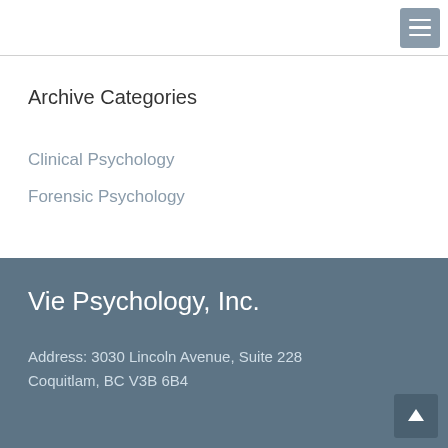Archive Categories
Clinical Psychology
Forensic Psychology
Vie Psychology, Inc.
Address: 3030 Lincoln Avenue, Suite 228
Coquitlam, BC V3B 6B4